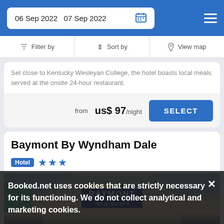06 Sep 2022  07 Sep 2022
Filter by  Sort by  View map
Set close to Kentucky Wesleyan College, the hotel boasts local meals served at the onsite 24-hour restaurant.
from  us$ 97/night  SELECT
Baymont By Wyndham Dale
Hotel ★★★
[Figure (photo): Exterior of Baymont Inn & Suites hotel building with blue sky background]
Booked.net uses cookies that are strictly necessary for its functioning. We do not collect analytical and marketing cookies.